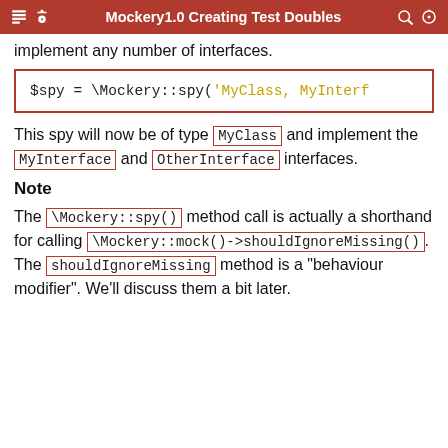Mockery1.0 Creating Test Doubles
implement any number of interfaces.
$spy = \Mockery::spy('MyClass, MyInterf
This spy will now be of type MyClass and implement the MyInterface and OtherInterface interfaces.
Note
The \Mockery::spy() method call is actually a shorthand for calling \Mockery::mock()->shouldIgnoreMissing(). The shouldIgnoreMissing method is a "behaviour modifier". We'll discuss them a bit later.